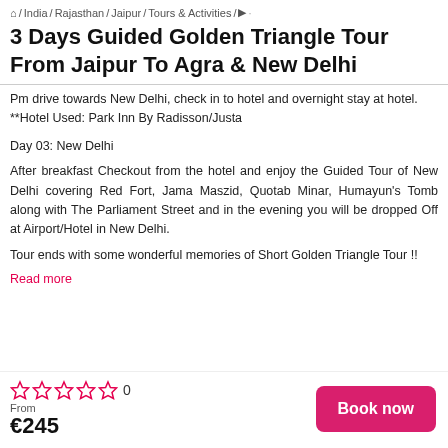⌂ / India / Rajasthan / Jaipur / Tours & Activities / ▶ ·
3 Days Guided Golden Triangle Tour From Jaipur To Agra & New Delhi
Pm drive towards New Delhi, check in to hotel and overnight stay at hotel.
**Hotel Used: Park Inn By Radisson/Justa
Day 03: New Delhi
After breakfast Checkout from the hotel and enjoy the Guided Tour of New Delhi covering Red Fort, Jama Maszid, Quotab Minar, Humayun's Tomb along with The Parliament Street and in the evening you will be dropped Off at Airport/Hotel in New Delhi.
Tour ends with some wonderful memories of Short Golden Triangle Tour !!
Read more
0
From
€245
Book now